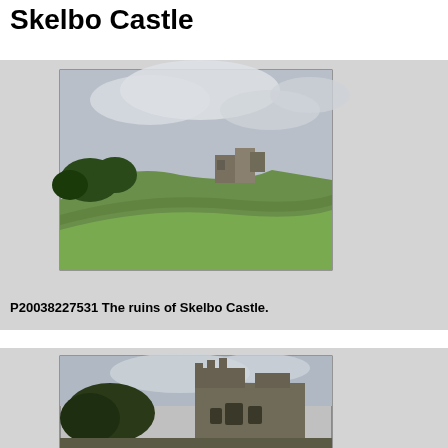Skelbo Castle
[Figure (photo): Photograph of the ruins of Skelbo Castle on a green hillside with cloudy sky]
P20038227531 The ruins of Skelbo Castle.
[Figure (photo): Close-up photograph of the stone ruins of Skelbo Castle showing windows and battlements]